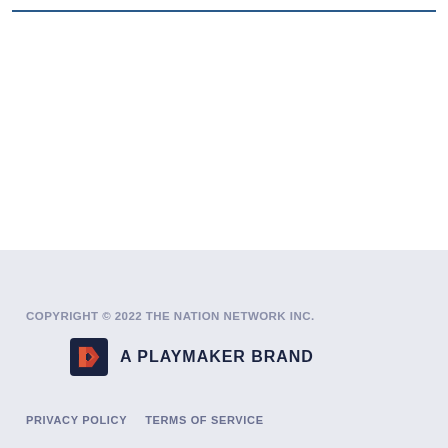COPYRIGHT © 2022 THE NATION NETWORK INC.
[Figure (logo): Playmaker brand logo: a dark navy square with a stylized red/orange 'P' arrow icon, followed by text 'A PLAYMAKER BRAND' in bold dark navy caps]
PRIVACY POLICY   TERMS OF SERVICE